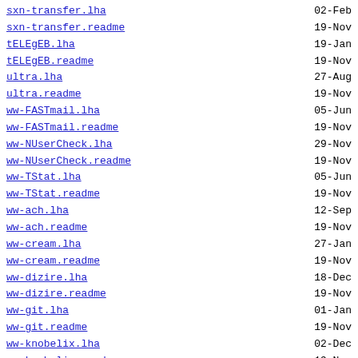sxn-transfer.lha   02-Feb
sxn-transfer.readme   19-Nov
tELEgEB.lha   19-Jan
tELEgEB.readme   19-Nov
ultra.lha   27-Aug
ultra.readme   19-Nov
ww-FASTmail.lha   05-Jun
ww-FASTmail.readme   19-Nov
ww-NUserCheck.lha   29-Nov
ww-NUserCheck.readme   19-Nov
ww-TStat.lha   05-Jun
ww-TStat.readme   19-Nov
ww-ach.lha   12-Sep
ww-ach.readme   19-Nov
ww-cream.lha   27-Jan
ww-cream.readme   19-Nov
ww-dizire.lha   18-Dec
ww-dizire.readme   19-Nov
ww-git.lha   01-Jan
ww-git.readme   19-Nov
ww-knobelix.lha   02-Dec
ww-knobelix.readme   19-Nov
ww-vote.lha   27-Aug
ww-vote.readme   19-Nov
ww-wall.lha   23-Dec
ww-wall.readme   19-Nov
ww-yo.lha   19-Dec
ww-yo.readme   19-Nov